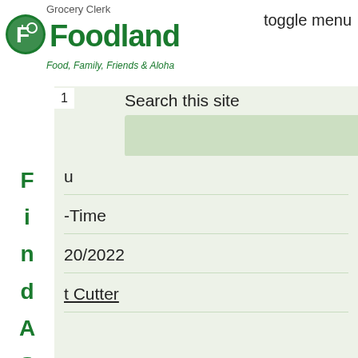Grocery Clerk
[Figure (logo): Foodland logo - green circular icon with shopping cart and fork]
Foodland
Food, Family, Friends & Aloha
toggle menu
Search this site
1
u
-Time
20/2022
t Cutter
dland Kailua
u
Find A Store
Ab